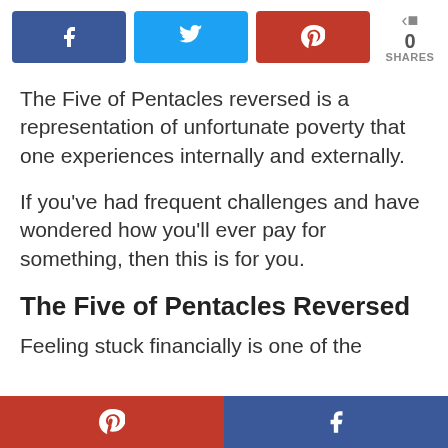[Figure (infographic): Social share bar with Facebook (blue), Twitter (cyan), Pinterest (red) buttons, and a share count showing 0 SHARES]
The Five of Pentacles reversed is a representation of unfortunate poverty that one experiences internally and externally.
If you've had frequent challenges and have wondered how you'll ever pay for something, then this is for you.
The Five of Pentacles Reversed
Feeling stuck financially is one of the
[Figure (infographic): Bottom share bar with Pinterest (red, left half) and Facebook (dark blue, right half) buttons]